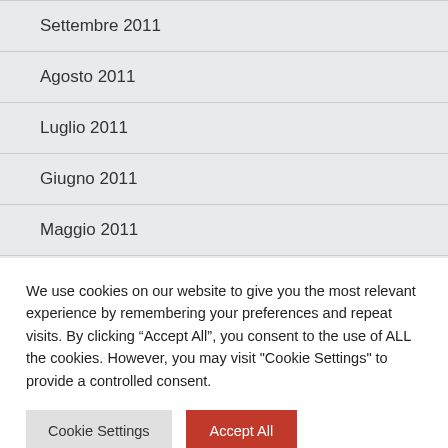Settembre 2011
Agosto 2011
Luglio 2011
Giugno 2011
Maggio 2011
Aprile 2011
We use cookies on our website to give you the most relevant experience by remembering your preferences and repeat visits. By clicking “Accept All”, you consent to the use of ALL the cookies. However, you may visit "Cookie Settings" to provide a controlled consent.